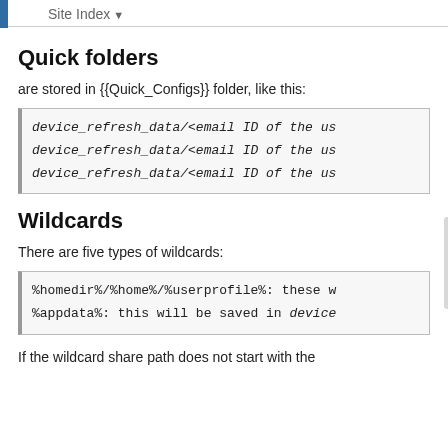Site Index
Quick folders
are stored in {{Quick_Configs}} folder, like this:
device_refresh_data/<email ID of the us
device_refresh_data/<email ID of the us
device_refresh_data/<email ID of the us
Wildcards
There are five types of wildcards:
%homedir%/%home%/%userprofile%: these w
%appdata%: this will be saved in device
If the wildcard share path does not start with the